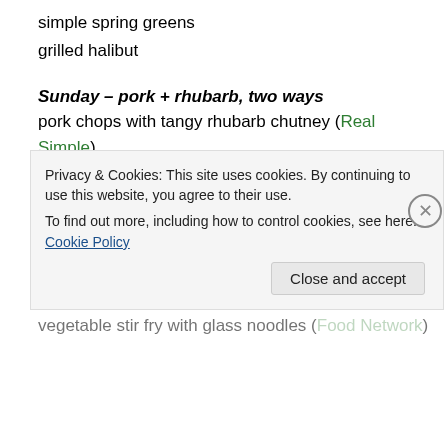simple spring greens
grilled halibut
Sunday  – pork + rhubarb, two ways
pork chops with tangy rhubarb chutney (Real Simple)
roasted purple sprouted broccoli (Penny's Recipes)
spring green salad (Williams Sonoma)
rhubarb crumb bars (Martha Stewart)
Monday – toss it all in stir-fry
vegetable stir fry with glass noodles (Food Network)
Privacy & Cookies: This site uses cookies. By continuing to use this website, you agree to their use. To find out more, including how to control cookies, see here: Cookie Policy